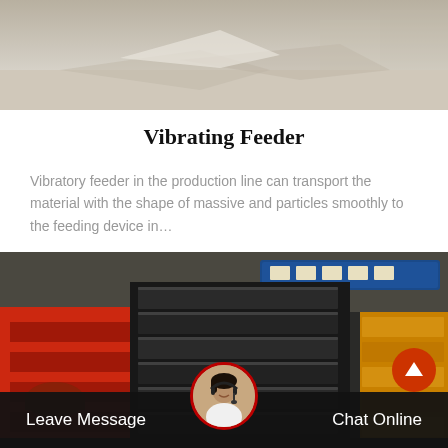[Figure (photo): Top partial photo of an outdoor industrial/warehouse area with light concrete floor and shadows, showing the upper portion of a factory or storage yard scene.]
Vibrating Feeder
Vibratory feeder in the production line can transport the material with the shape of massive and particles smoothly to the feeding device in…
[Figure (photo): Photo of stacked heavy industrial equipment parts — large red and black metal components (possibly crusher or feeder parts) stacked in an industrial facility. A yellow component is visible on the right side. Chinese signage visible in the background.]
Leave Message   Chat Online